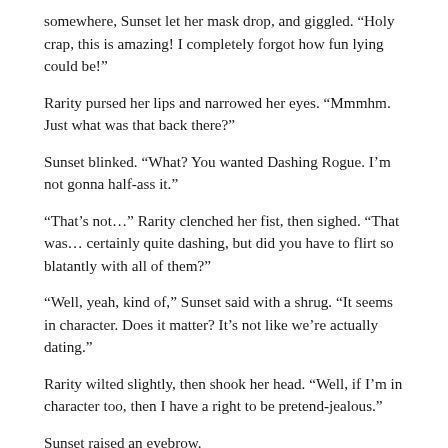somewhere, Sunset let her mask drop, and giggled. “Holy crap, this is amazing! I completely forgot how fun lying could be!”
Rarity pursed her lips and narrowed her eyes. “Mmmhm. Just what was that back there?”
Sunset blinked. “What? You wanted Dashing Rogue. I’m not gonna half-ass it.”
“That’s not…” Rarity clenched her fist, then sighed. “That was… certainly quite dashing, but did you have to flirt so blatantly with all of them?”
“Well, yeah, kind of,” Sunset said with a shrug. “It seems in character. Does it matter? It’s not like we’re actually dating.”
Rarity wilted slightly, then shook her head. “Well, if I’m in character too, then I have a right to be pretend-jealous.”
Sunset raised an eyebrow.
“Alright folks, it’s time for our first dance! Let’s give it up for the newlyweds!” a loud voice barked over the speaker system.